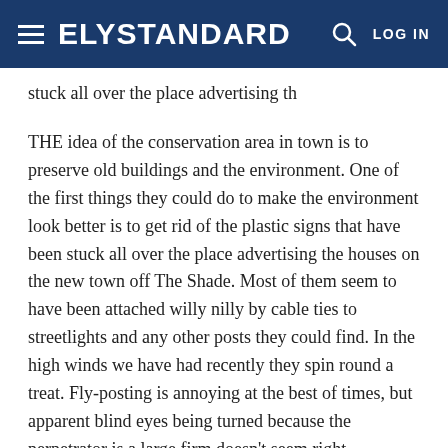ELY STANDARD  LOG IN
stuck all over the place advertising th
THE idea of the conservation area in town is to preserve old buildings and the environment. One of the first things they could do to make the environment look better is to get rid of the plastic signs that have been stuck all over the place advertising the houses on the new town off The Shade. Most of them seem to have been attached willy nilly by cable ties to streetlights and any other posts they could find. In the high winds we have had recently they spin round a treat. Fly-posting is annoying at the best of times, but apparent blind eyes being turned because the perpetrator is a large firm doesn't seem right.
The environment is, however, being conserved a bit on